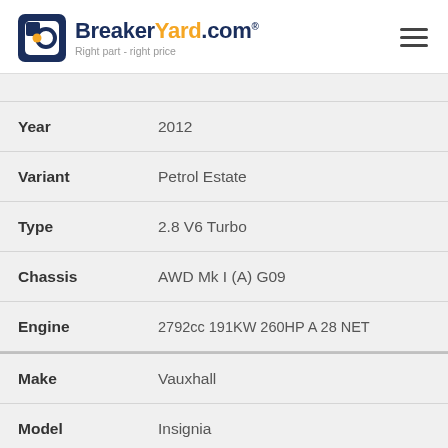BreakerYard.com — Right part - right price
| Field | Value |
| --- | --- |
| Year | 2012 |
| Variant | Petrol Estate |
| Type | 2.8 V6 Turbo |
| Chassis | AWD Mk I (A) G09 |
| Engine | 2792cc 191KW 260HP A 28 NET |
| Make | Vauxhall |
| Model | Insignia |
| Year | 2012 |
| Variant | Petrol Estate |
| Type | 2.8 VXR |